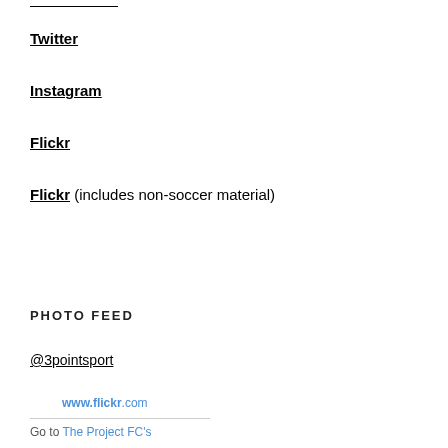Twitter
Instagram
Flickr
Flickr (includes non-soccer material)
PHOTO FEED
@3pointsport
www.flickr.com
Go to The Project FC's